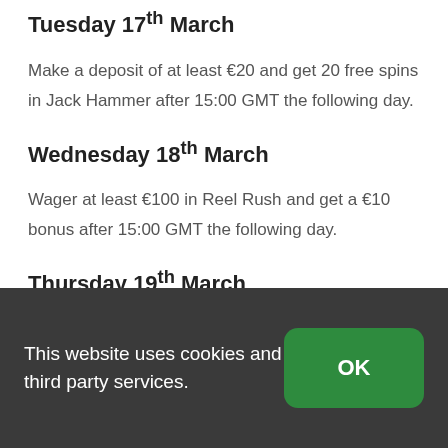Tuesday 17th March
Make a deposit of at least €20 and get 20 free spins in Jack Hammer after 15:00 GMT the following day.
Wednesday 18th March
Wager at least €100 in Reel Rush and get a €10 bonus after 15:00 GMT the following day.
Thursday 19th March
All players who deposit at least €200 will get a
This website uses cookies and third party services.
OK